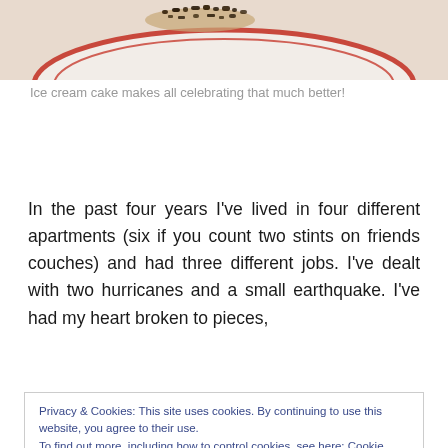[Figure (photo): Photo of ice cream cake on a plate with a red-rimmed border and dark chocolate crumbles on top, partially cropped at the top of the page]
Ice cream cake makes all celebrating that much better!
In the past four years I've lived in four different apartments (six if you count two stints on friends couches) and had three different jobs. I've dealt with two hurricanes and a small earthquake. I've had my heart broken to pieces,
Privacy & Cookies: This site uses cookies. By continuing to use this website, you agree to their use.
To find out more, including how to control cookies, see here: Cookie Policy
Close and accept
know I'm cool. I've lived four years and at the same time